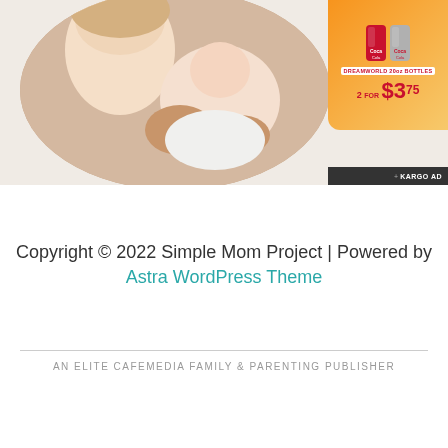[Figure (photo): Circular cropped photo of a young girl smiling with a newborn baby, with a Dreamworld Coca-Cola advertisement in the top right corner showing '2 for $3.75' pricing]
Copyright © 2022 Simple Mom Project | Powered by
Astra WordPress Theme
AN ELITE CAFEMEDIA FAMILY & PARENTING PUBLISHER